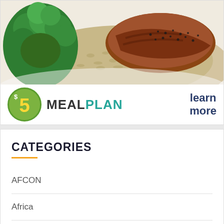[Figure (photo): Food photo showing grilled chicken on brown rice with broccoli on a white plate]
[Figure (logo): $5 Meal Plan advertisement banner with green circle logo showing $5, MEAL PLAN text, and 'learn more' call to action]
CATEGORIES
AFCON
Africa
Arts & Entertainment
Athletics